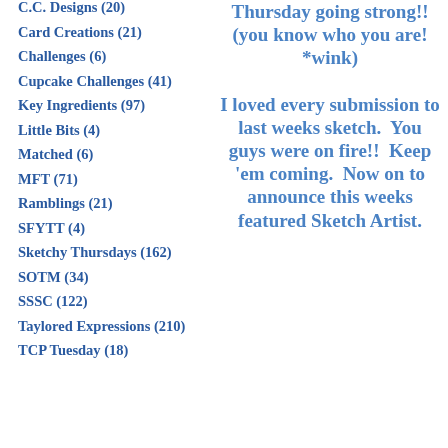C.C. Designs (20)
Card Creations (21)
Challenges (6)
Cupcake Challenges (41)
Key Ingredients (97)
Little Bits (4)
Matched (6)
MFT (71)
Ramblings (21)
SFYTT (4)
Sketchy Thursdays (162)
SOTM (34)
SSSC (122)
Taylored Expressions (210)
TCP Tuesday (18)
Thursday going strong!! (you know who you are! *wink)

I loved every submission to last weeks sketch. You guys were on fire!! Keep 'em coming. Now on to announce this weeks featured Sketch Artist.